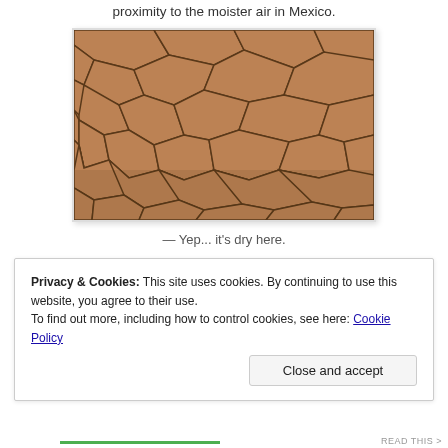proximity to the moister air in Mexico.
[Figure (photo): Cracked dry earth/mud showing severe drought conditions, viewed from above at an angle. The ground is tan/brown with a pattern of dried, cracked soil segments.]
— Yep... it's dry here.
Privacy & Cookies: This site uses cookies. By continuing to use this website, you agree to their use.
To find out more, including how to control cookies, see here: Cookie Policy
Close and accept